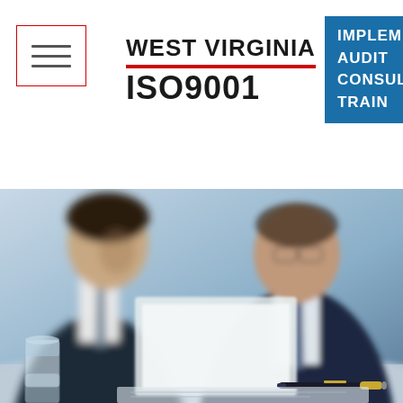[Figure (logo): West Virginia ISO9001 logo with hamburger menu button on left, centered logo text reading WEST VIRGINIA with red underline and ISO9001 below, and blue box on right with text IMPLEMENT AUDIT CONSULT TRAIN]
[Figure (photo): Two businessmen in dark suits looking at documents/tablet on a desk, blurred background, a pen and glass of water on the table in foreground]